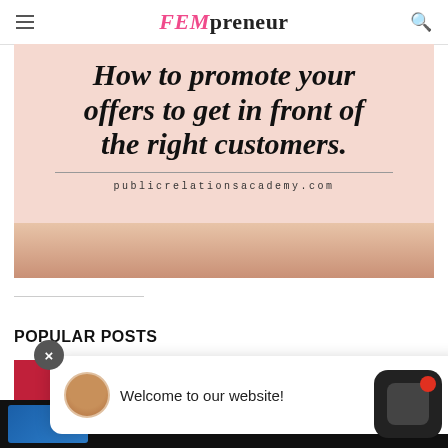FEMpreneur
[Figure (illustration): Hero banner with pink/salmon background showing italic bold text 'How to promote your offers to get in front of the right customers.' with url publicrelationsacademy.com, and a skin-toned bottom section suggesting hands/person]
POPULAR POSTS
[Figure (screenshot): Chat widget overlay showing a close button, avatar photo, and text 'Welcome to our website!']
[Figure (screenshot): Advertisement bar at bottom showing a car image, LANXESS brand text, and Open button]